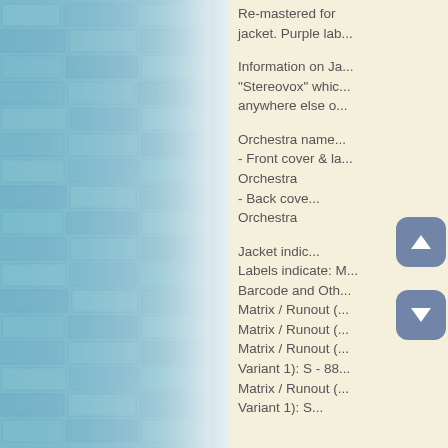[Figure (photo): Blue brick wall texture filling the left portion of the page, with a gradient fade to cream on the right edge]
Re-mastered for... jacket. Purple lab...
Information on Ja... "Stereovox" whic... anywhere else o...
Orchestra name... - Front cover & la... Orchestra - Back cove... Orchestra
Jacket indic... Labels indicate: M... Barcode and Oth... Matrix / Runout (... Matrix / Runout (... Matrix / Runout (... Variant 1): S - 88... Matrix / Runout (... Variant 1): S...